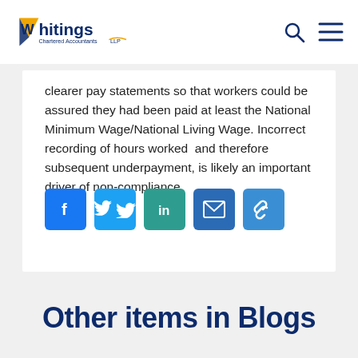[Figure (logo): Whitings Chartered Accountants LLP logo with orange and dark blue W triangle icon]
clearer pay statements so that workers could be assured they had been paid at least the National Minimum Wage/National Living Wage. Incorrect recording of hours worked and therefore subsequent underpayment, is likely an important driver of non-compliance.
[Figure (infographic): Social media sharing buttons: Facebook (blue), Twitter (light blue), LinkedIn (teal), Email (blue), Link/Copy (blue)]
Other items in Blogs